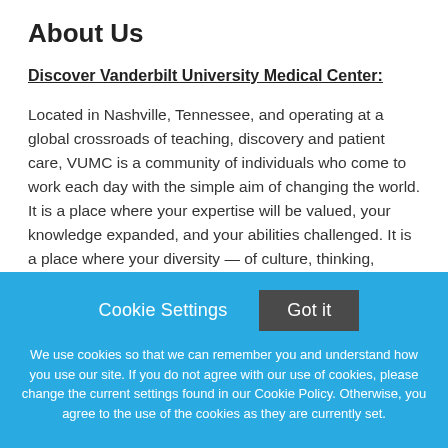About Us
Discover Vanderbilt University Medical Center:
Located in Nashville, Tennessee, and operating at a global crossroads of teaching, discovery and patient care, VUMC is a community of individuals who come to work each day with the simple aim of changing the world. It is a place where your expertise will be valued, your knowledge expanded, and your abilities challenged. It is a place where your diversity — of culture, thinking, learning
Cookie Settings
Got it
We use cookies so that we can remember you and understand how you use our site. If you do not agree with our use of cookies, please change the current settings found in our Cookie Policy. Otherwise, you agree to the use of the cookies as they are currently set.